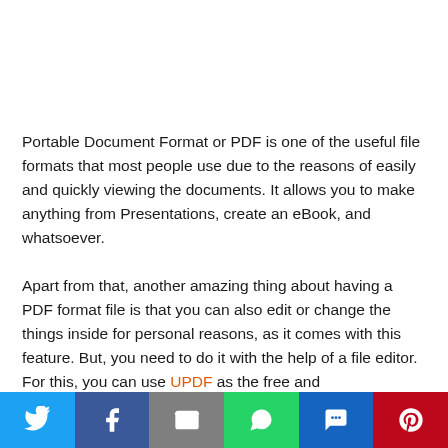Portable Document Format or PDF is one of the useful file formats that most people use due to the reasons of easily and quickly viewing the documents. It allows you to make anything from Presentations, create an eBook, and whatsoever.
Apart from that, another amazing thing about having a PDF format file is that you can also edit or change the things inside for personal reasons, as it comes with this feature. But, you need to do it with the help of a file editor. For this, you can use UPDF as the free and
Social share bar: Twitter, Facebook, Email, WhatsApp, SMS, Pinterest